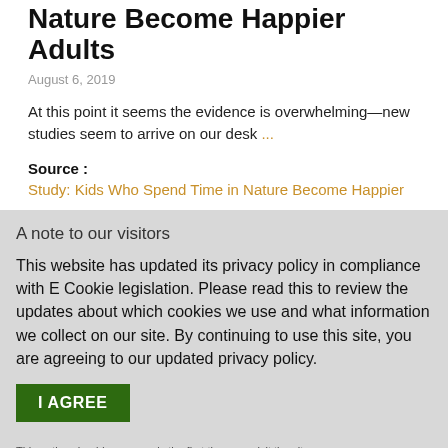Nature Become Happier Adults
August 6, 2019
At this point it seems the evidence is overwhelming—new studies seem to arrive on our desk ...
Source :
Study: Kids Who Spend Time in Nature Become Happier
A note to our visitors
This website has updated its privacy policy in compliance with E Cookie legislation. Please read this to review the updates about which cookies we use and what information we collect on our site. By continuing to use this site, you are agreeing to our updated privacy policy.
I AGREE
This notice should appear only the first time you visit the site.